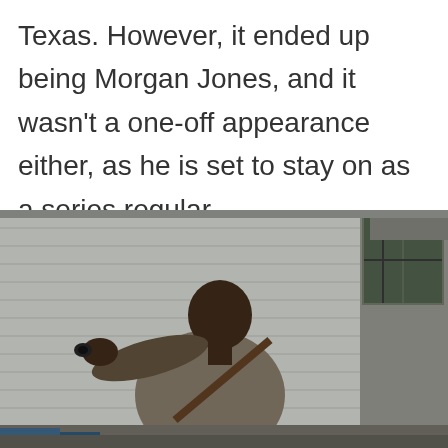Texas. However, it ended up being Morgan Jones, and it wasn't a one-off appearance either, as he is set to stay on as a series regular.
[Figure (photo): A Black man in a olive/khaki jacket with a diagonal brown strap across his chest, pointing a handgun toward the camera with his right arm extended. He is standing in front of a whitewashed brick building with a window visible behind him.]